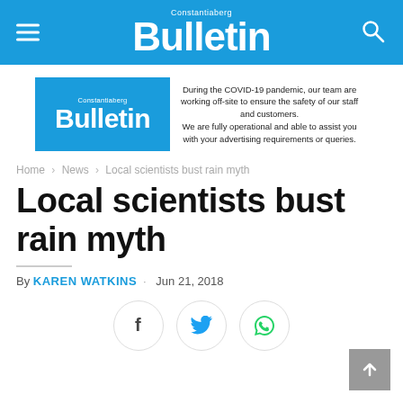Constantiaberg Bulletin
[Figure (logo): Constantiaberg Bulletin advertisement banner with blue logo box and COVID-19 notice text]
Home > News > Local scientists bust rain myth
Local scientists bust rain myth
By KAREN WATKINS . Jun 21, 2018
[Figure (infographic): Social share buttons: Facebook, Twitter, WhatsApp]